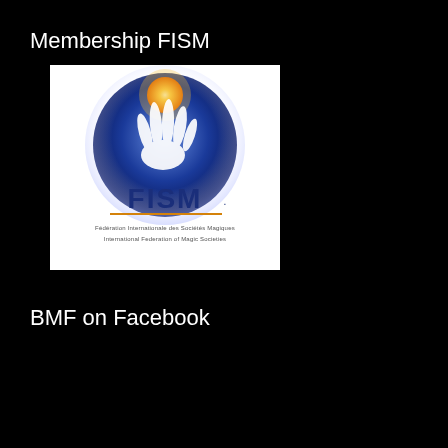Membership FISM
[Figure (logo): FISM logo: a white hand holding a glowing orange globe on a dark blue circular background, with the text 'FISM.' in dark blue and a subtitle in smaller text: 'Fédération Internationale des Sociétés Magiques / International Federation of Magic Societies']
BMF on Facebook